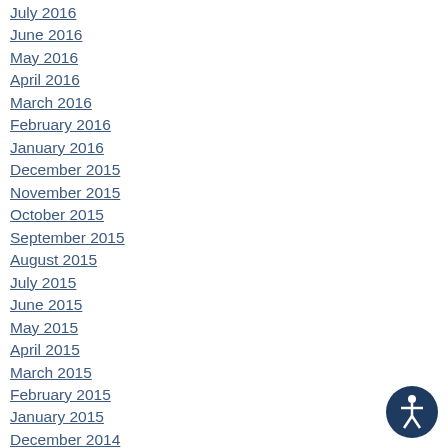July 2016
June 2016
May 2016
April 2016
March 2016
February 2016
January 2016
December 2015
November 2015
October 2015
September 2015
August 2015
July 2015
June 2015
May 2015
April 2015
March 2015
February 2015
January 2015
December 2014
November 2014
October 2014
September 2014
August 2014
[Figure (illustration): Accessibility icon - circular dark blue badge with a white figure person symbol]